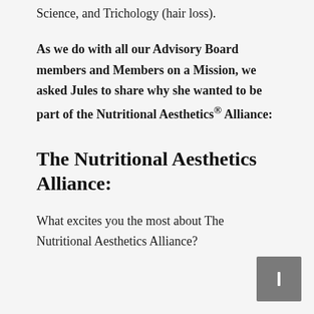Science, and Trichology (hair loss).
As we do with all our Advisory Board members and Members on a Mission, we asked Jules to share why she wanted to be part of the Nutritional Aesthetics® Alliance:
The Nutritional Aesthetics Alliance:
What excites you the most about The Nutritional Aesthetics Alliance?